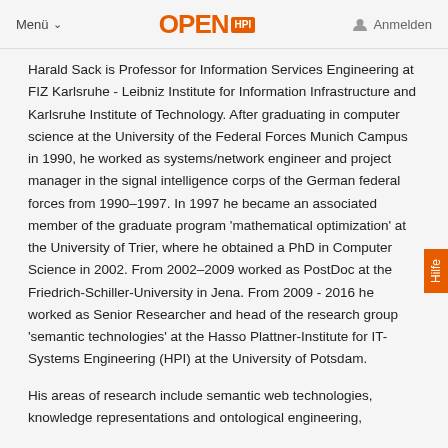Menü   OPEN HPI   Anmelden
Harald Sack is Professor for Information Services Engineering at FIZ Karlsruhe - Leibniz Institute for Information Infrastructure and Karlsruhe Institute of Technology. After graduating in computer science at the University of the Federal Forces Munich Campus in 1990, he worked as systems/network engineer and project manager in the signal intelligence corps of the German federal forces from 1990–1997. In 1997 he became an associated member of the graduate program 'mathematical optimization' at the University of Trier, where he obtained a PhD in Computer Science in 2002. From 2002–2009 worked as PostDoc at the Friedrich-Schiller-University in Jena. From 2009 - 2016 he worked as Senior Researcher and head of the research group 'semantic technologies' at the Hasso Plattner-Institute for IT-Systems Engineering (HPI) at the University of Potsdam.
His areas of research include semantic web technologies, knowledge representations and ontological engineering,